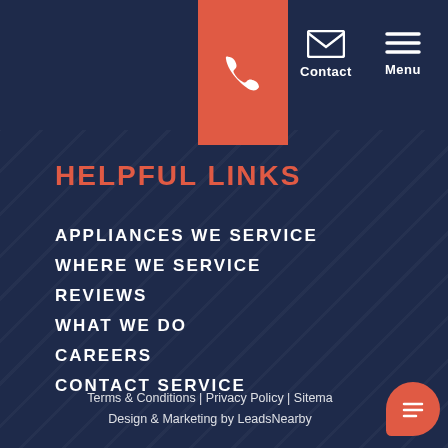[Figure (logo): AAA Appliance Service Center logo with bear mascot in badge/shield shape]
[Figure (infographic): Orange/salmon phone call button]
[Figure (infographic): Contact icon (envelope) with label]
[Figure (infographic): Menu icon (hamburger lines) with label]
HELPFUL LINKS
APPLIANCES WE SERVICE
WHERE WE SERVICE
REVIEWS
WHAT WE DO
CAREERS
CONTACT SERVICE
Terms & Conditions | Privacy Policy | Sitemap
Design & Marketing by LeadsNearby